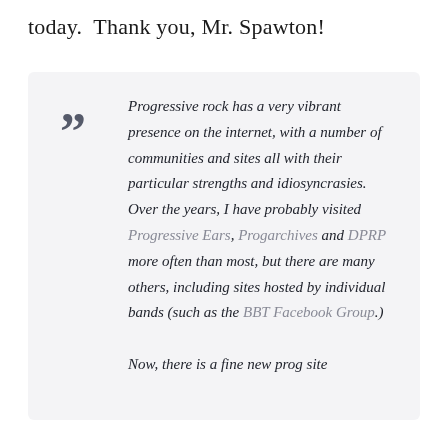today.  Thank you, Mr. Spawton!
Progressive rock has a very vibrant presence on the internet, with a number of communities and sites all with their particular strengths and idiosyncrasies. Over the years, I have probably visited Progressive Ears, Progarchives and DPRP more often than most, but there are many others, including sites hosted by individual bands (such as the BBT Facebook Group.)
Now, there is a fine new prog site